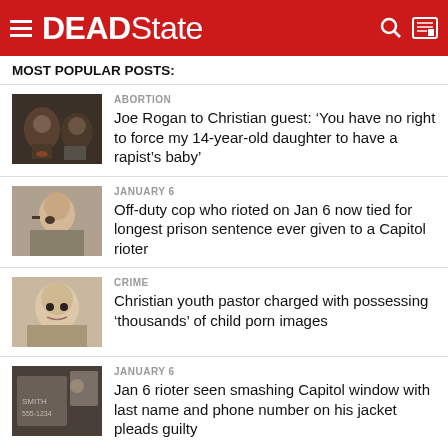DEADState
MOST POPULAR POSTS:
[Figure (photo): Thumbnail image of Joe Rogan podcast with two men]
ABORTION
Joe Rogan to Christian guest: ‘You have no right to force my 14-year-old daughter to have a rapist’s baby’
[Figure (photo): Thumbnail image of man appearing in court]
JANUARY 6
Off-duty cop who rioted on Jan 6 now tied for longest prison sentence ever given to a Capitol rioter
[Figure (photo): Thumbnail image of elderly man]
CRIME
Christian youth pastor charged with possessing ‘thousands’ of child porn images
[Figure (photo): Thumbnail image of tattoo on jacket]
JANUARY 6
Jan 6 rioter seen smashing Capitol window with last name and phone number on his jacket pleads guilty